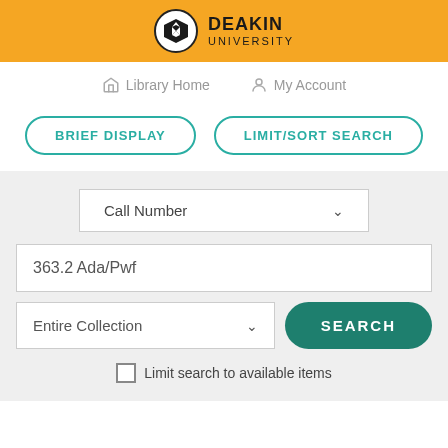[Figure (logo): Deakin University logo with shield icon on orange header bar]
Library Home   My Account
BRIEF DISPLAY   LIMIT/SORT SEARCH
Call Number
363.2 Ada/Pwf
Entire Collection
SEARCH
Limit search to available items